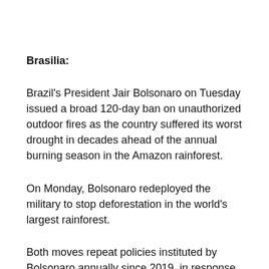Brasilia:
Brazil's President Jair Bolsonaro on Tuesday issued a broad 120-day ban on unauthorized outdoor fires as the country suffered its worst drought in decades ahead of the annual burning season in the Amazon rainforest.
On Monday, Bolsonaro redeployed the military to stop deforestation in the world's largest rainforest.
Both moves repeat policies instituted by Bolsonaro annually since 2019, in response to international outcry that Brazil was not doing enough to stop destruction of the vital bulwark to climate change.